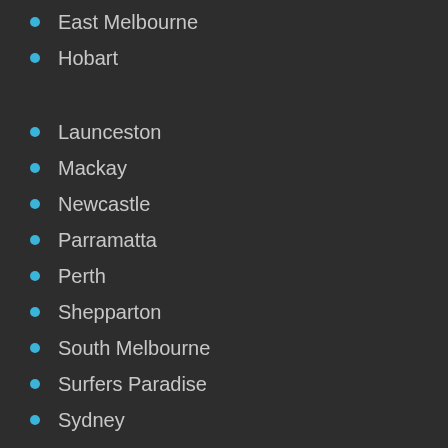East Melbourne
Hobart
Launceston
Mackay
Newcastle
Parramatta
Perth
Shepparton
South Melbourne
Surfers Paradise
Sydney
Townsville